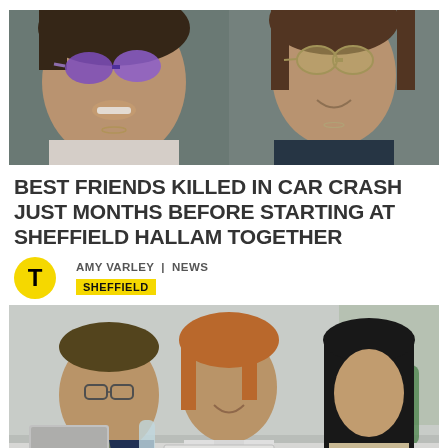[Figure (photo): Two young women smiling in a car, one wearing purple mirrored sunglasses on the left and one wearing aviator sunglasses on the right]
BEST FRIENDS KILLED IN CAR CRASH JUST MONTHS BEFORE STARTING AT SHEFFIELD HALLAM TOGETHER
AMY VARLEY | NEWS
SHEFFIELD
[Figure (photo): Three people sitting at a white conference table in a meeting room: a man in a suit with glasses on the left, a woman in a white blazer smiling in the center, and a woman with long dark hair on the right]